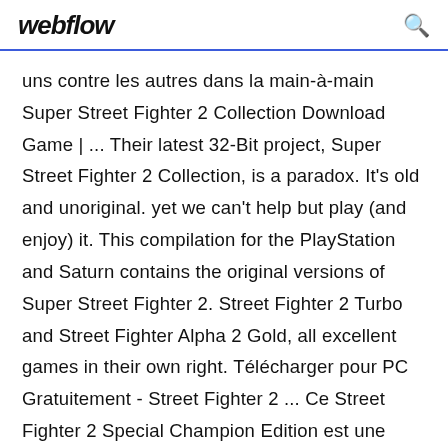webflow
uns contre les autres dans la main-à-main Super Street Fighter 2 Collection Download Game | ... Their latest 32-Bit project, Super Street Fighter 2 Collection, is a paradox. It's old and unoriginal. yet we can't help but play (and enjoy) it. This compilation for the PlayStation and Saturn contains the original versions of Super Street Fighter 2. Street Fighter 2 Turbo and Street Fighter Alpha 2 Gold, all excellent games in their own right. Télécharger pour PC Gratuitement - Street Fighter 2 ... Ce Street Fighter 2 Special Champion Edition est une espèce de remake ou de subversion sur lequel vous pouvez utiliser les quatre rivaux finaux de Street Fighter 2. les célèbres M.Bison. Balrog.